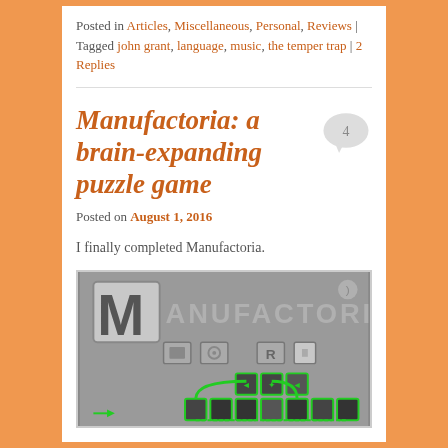Posted in Articles, Miscellaneous, Personal, Reviews | Tagged john grant, language, music, the temper trap | 2 Replies
Manufactoria: a brain-expanding puzzle game
Posted on August 1, 2016
I finally completed Manufactoria.
[Figure (screenshot): Screenshot of the Manufactoria puzzle game showing the game title 'MANUFACTORIA' in a pixelated font with various game tiles and green circuit path connections on a grey background.]